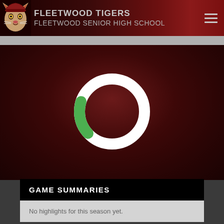FLEETWOOD TIGERS
FLEETWOOD SENIOR HIGH SCHOOL
[Figure (other): Circular loading spinner/donut indicator with white ring and green segment at bottom, on dark red gradient background]
GAME SUMMARIES
No highlights for this season yet.